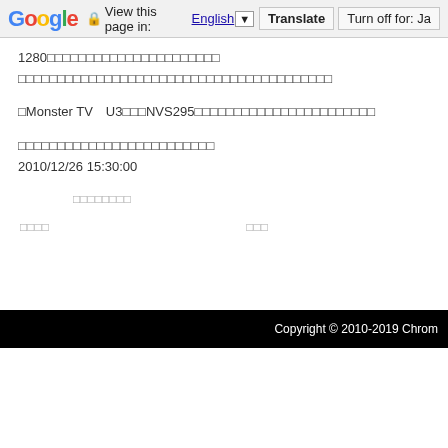Google  View this page in: English ▼  Translate  Turn off for: Ja
1280□□□□□□□□□□□□□□□□□□□□□□
□□□□□□□□□□□□□□□□□□□□□□□□□□□□□□□□□□□□□□□□
□Monster TV　U3□□□NVS295□□□□□□□□□□□□□□□□□□□□□□□
□□□□□□□□□□□□□□□□□□□□□□□□□
2010/12/26 15:30:00
□□□□□□□□
□□□□　　　□□□
Copyright © 2010-2019 Chrom